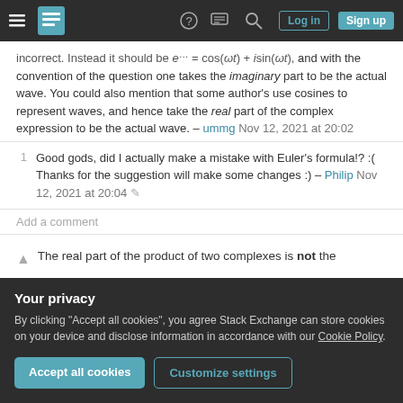Stack Exchange navigation bar with hamburger menu, logo, help, chat, search icons, Log in and Sign up buttons
incorrect. Instead it should be e^... = cos(ωt) + i sin(ωt), and with the convention of the question one takes the imaginary part to be the actual wave. You could also mention that some author's use cosines to represent waves, and hence take the real part of the complex expression to be the actual wave. – ummg Nov 12, 2021 at 20:02
1  Good gods, did I actually make a mistake with Euler's formula!? :( Thanks for the suggestion will make some changes :) – Philip Nov 12, 2021 at 20:04
Add a comment
The real part of the product of two complexes is not the
Your privacy
By clicking "Accept all cookies", you agree Stack Exchange can store cookies on your device and disclose information in accordance with our Cookie Policy.
Accept all cookies
Customize settings